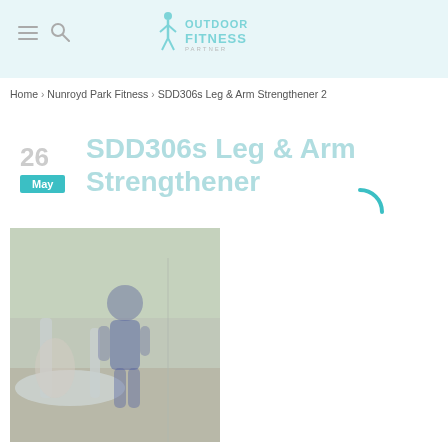Outdoor Fitness
Home > Nunroyd Park Fitness > SDD306s Leg & Arm Strengthener 2
SDD306s Leg & Arm Strengthener
26 May
[Figure (photo): Person using outdoor leg and arm strengthener fitness equipment in a park setting]